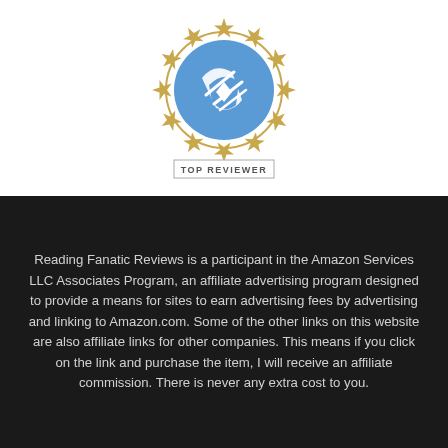[Figure (logo): A circular badge with stars and a pencil/checkmark icon, labeled 'TOP REVIEWER' at the bottom. Blue and gold color scheme.]
Reading Fanatic Reviews is a participant in the Amazon Services LLC Associates Program, an affiliate advertising program designed to provide a means for sites to earn advertising fees by advertising and linking to Amazon.com. Some of the other links on this website are also affiliate links for other companies. This means if you click on the link and purchase the item, I will receive an affiliate commission. There is never any extra cost to you.